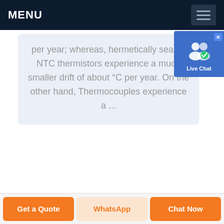MENU
per year; whereas, hermetically sealed NTC thermistors experience a much smaller drift of about °C per year. On the other hand, Thermocouples experience a ...
[Figure (screenshot): Live Chat button/badge with user icon and blue background]
Get a Quote | WhatsApp | Chat Now